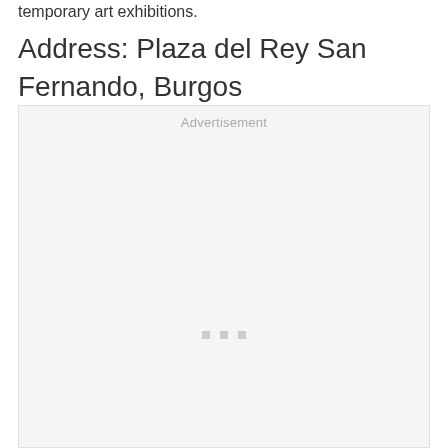temporary art exhibitions.
Address: Plaza del Rey San Fernando, Burgos
[Figure (other): Advertisement placeholder box with 'Advertisement' label and three small grey dots near the bottom center]